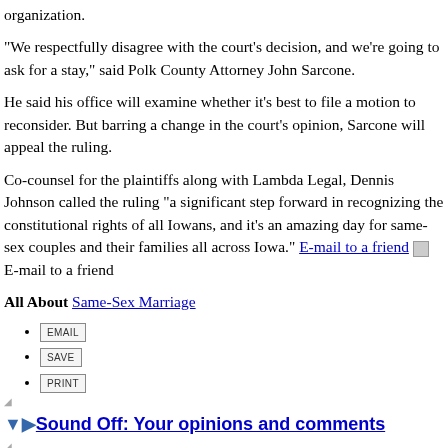organization.
"We respectfully disagree with the court's decision, and we're going to ask for a stay," said Polk County Attorney John Sarcone.
He said his office will examine whether it's best to file a motion to reconsider. But barring a change in the court's opinion, Sarcone will appeal the ruling.
Co-counsel for the plaintiffs along with Lambda Legal, Dennis Johnson called the ruling "a significant step forward in recognizing the constitutional rights of all Iowans, and it's an amazing day for same-sex couples and their families all across Iowa." E-mail to a friend [icon] E-mail to a friend
All About Same-Sex Marriage
EMAIL
SAVE
PRINT
Sound Off: Your opinions and comments